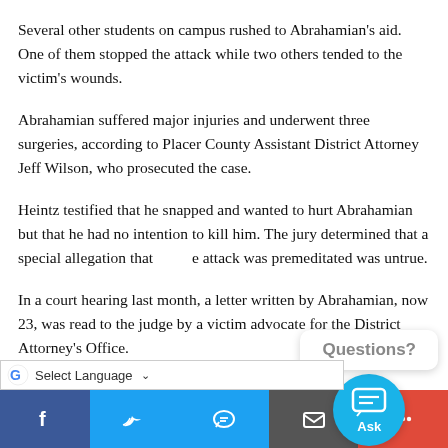Several other students on campus rushed to Abrahamian's aid. One of them stopped the attack while two others tended to the victim's wounds.
Abrahamian suffered major injuries and underwent three surgeries, according to Placer County Assistant District Attorney Jeff Wilson, who prosecuted the case.
Heintz testified that he snapped and wanted to hurt Abrahamian but that he had no intention to kill him. The jury determined that a special allegation that the attack was premeditated was untrue.
In a court hearing last month, a letter written by Abrahamian, now 23, was read to the judge by a victim advocate for the District Attorney's Office.
Abrahamian, who was not present at that February 9 hearing at the Friday sentencing, wrote that he was
[Figure (other): Questions? Ask chat widget button in bottom right corner]
[Figure (other): Bottom social sharing toolbar with Facebook, Twitter, Messenger, email, and more buttons]
[Figure (other): Google Translate Select Language dropdown bar]